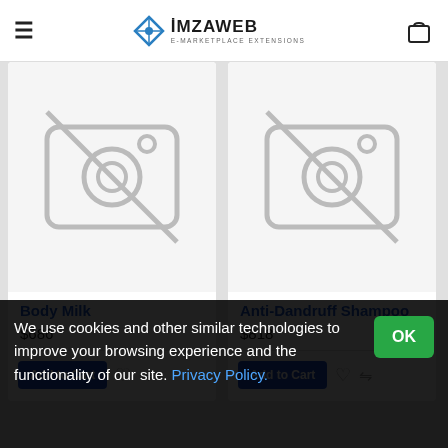iMZAWEB E-MARKETPLACE EXTENSIONS
[Figure (screenshot): Product card for Body Milk with no-image placeholder icon]
Body Milk
$686
[Figure (screenshot): Product card for Anti-Dandruff Shampoo with no-image placeholder icon]
Anti-Dandruff Shampoo
$818
We use cookies and other similar technologies to improve your browsing experience and the functionality of our site. Privacy Policy.